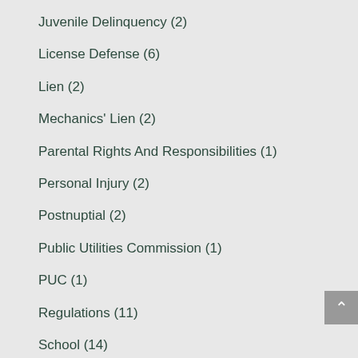Juvenile Delinquency (2)
License Defense (6)
Lien (2)
Mechanics' Lien (2)
Parental Rights And Responsibilities (1)
Personal Injury (2)
Postnuptial (2)
Public Utilities Commission (1)
PUC (1)
Regulations (11)
School (14)